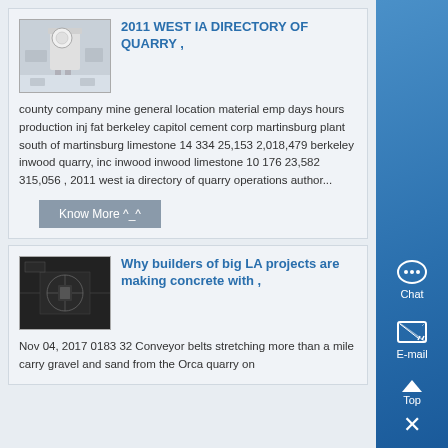2011 WEST IA DIRECTORY OF QUARRY ,
county company mine general location material emp days hours production inj fat berkeley capitol cement corp martinsburg plant south of martinsburg limestone 14 334 25,153 2,018,479 berkeley inwood quarry, inc inwood inwood limestone 10 176 23,582 315,056 , 2011 west ia directory of quarry operations author...
Why builders of big LA projects are making concrete with ,
Nov 04, 2017 0183 32 Conveyor belts stretching more than a mile carry gravel and sand from the Orca quarry on